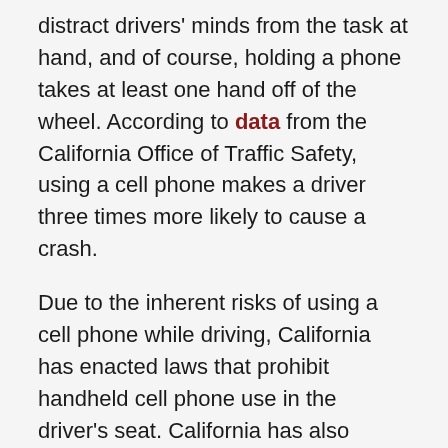distract drivers' minds from the task at hand, and of course, holding a phone takes at least one hand off of the wheel. According to data from the California Office of Traffic Safety, using a cell phone makes a driver three times more likely to cause a crash.
Due to the inherent risks of using a cell phone while driving, California has enacted laws that prohibit handheld cell phone use in the driver's seat. California has also enacted a complete cell phone ban for drivers under 18 years of age. Using a cell phone while driving is considered a form of negligence under California law as well, and this means that those who suffer injuries and lose loved ones in distracted driving accidents can seek just compensation for their